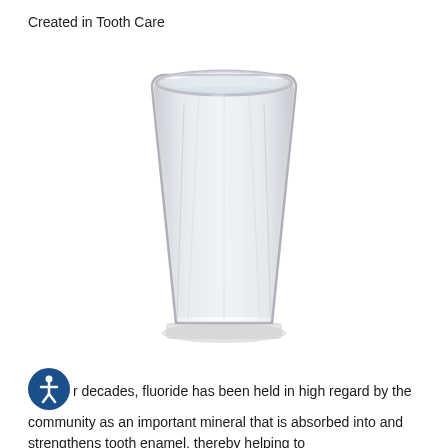Created in Tooth Care
[Figure (photo): A clear drinking glass filled with water, photographed on a white background. The glass is a tall, slightly tapered tumbler with vertical ridged panels.]
For decades, fluoride has been held in high regard by the community as an important mineral that is absorbed into and strengthens tooth enamel, thereby helping to